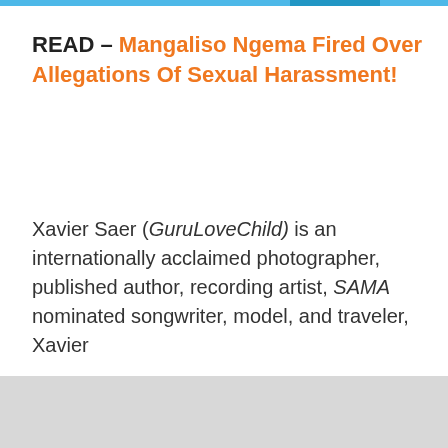READ – Mangaliso Ngema Fired Over Allegations Of Sexual Harassment!
Xavier Saer (GuruLoveChild) is an internationally acclaimed photographer, published author, recording artist, SAMA nominated songwriter, model, and traveler, Xavier